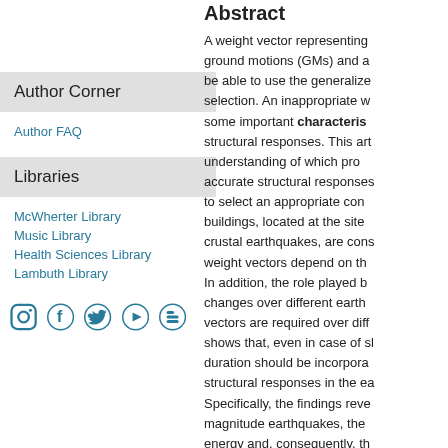Author Corner
Author FAQ
Libraries
McWherter Library
Music Library
Health Sciences Library
Lambuth Library
[Figure (illustration): Social media icons: Instagram, Facebook, Twitter, YouTube, Blogger]
Abstract
A weight vector representing ground motions (GMs) and a be able to use the generalized selection. An inappropriate v some important characteris structural responses. This art understanding of which pro accurate structural responses to select an appropriate con buildings, located at the site crustal earthquakes, are cons weight vectors depend on th In addition, the role played b changes over different earth vectors are required over dif shows that, even in case of s duration should be incorpora structural responses in the e Specifically, the findings reve magnitude earthquakes, the energy and, consequently, th
Publication Title
Earthquake Engineering and